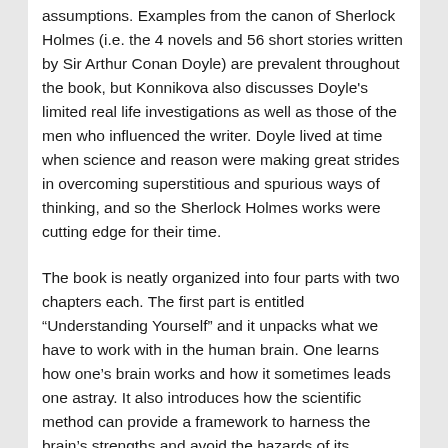assumptions. Examples from the canon of Sherlock Holmes (i.e. the 4 novels and 56 short stories written by Sir Arthur Conan Doyle) are prevalent throughout the book, but Konnikova also discusses Doyle's limited real life investigations as well as those of the men who influenced the writer. Doyle lived at time when science and reason were making great strides in overcoming superstitious and spurious ways of thinking, and so the Sherlock Holmes works were cutting edge for their time.
The book is neatly organized into four parts with two chapters each. The first part is entitled “Understanding Yourself” and it unpacks what we have to work with in the human brain. One learns how one’s brain works and how it sometimes leads one astray. It also introduces how the scientific method can provide a framework to harness the brain’s strengths and avoid the hazards of its weaknesses.
Part II investigates how one can become more skilled at investigation, as well as the role played by creativity and